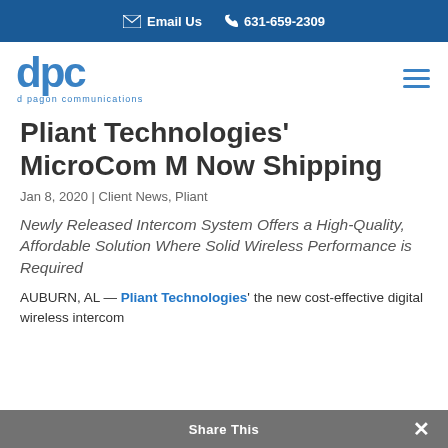Email Us  631-659-2309
[Figure (logo): DPC d pagon communications logo in blue]
Pliant Technologies' MicroCom M Now Shipping
Jan 8, 2020 | Client News, Pliant
Newly Released Intercom System Offers a High-Quality, Affordable Solution Where Solid Wireless Performance is Required
AUBURN, AL — Pliant Technologies' the new cost-effective digital wireless intercom